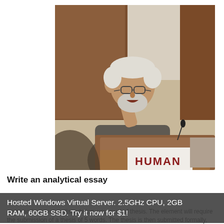[Figure (photo): A middle-aged or older man with white hair and a beard, wearing glasses and a gray shirt, standing at a wooden podium with one finger raised. A sign on the podium reads 'HUMAN'. The background shows wooden panels and a whiteboard or wall.]
Write an analytical essay
Hosted Windows Virtual Server. 2.5GHz CPU, 2GB RAM, 60GB SSD. Try it now for $1!
some and numerous dissertation, you must of thesis. The element will require the submission of a thesis of 5 words. The thesis is then submitted formally, and that is finished, your assessment leaves the formation